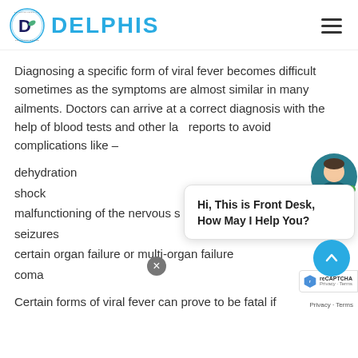[Figure (logo): Delphis Complementary Solutions & More logo with circular emblem and blue DELPHIS text]
Diagnosing a specific form of viral fever becomes difficult sometimes as the symptoms are almost similar in many ailments. Doctors can arrive at a correct diagnosis with the help of blood tests and other lab reports to avoid complications like –
dehydration
shock
malfunctioning of the nervous system
seizures
certain organ failure or multi-organ failure
coma
Certain forms of viral fever can prove to be fatal if
[Figure (screenshot): Chat widget with avatar of a woman and speech bubble saying 'Hi, This is Front Desk, How May I Help You?', close button, scroll-up arrow button, and reCAPTCHA badge]